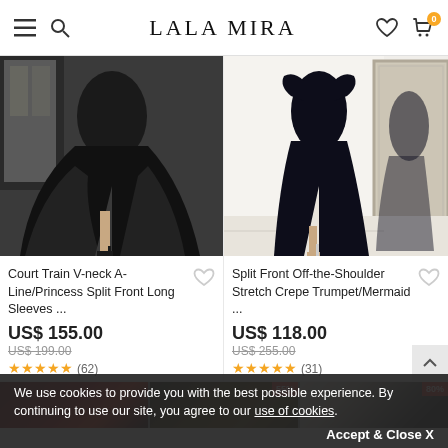LALA MIRA
[Figure (photo): Black tulle ball gown with V-neck, long sleeves, and front split, worn with strappy heels against a dark indoor background]
[Figure (photo): Dark navy off-the-shoulder trumpet/mermaid gown with front split, worn with heeled sandals against a white wall with a large mirror]
Court Train V-neck A-Line/Princess Split Front Long Sleeves ...
Split Front Off-the-Shoulder Stretch Crepe Trumpet/Mermaid ...
US$ 155.00
US$ 199.00
★★★★★ (62)
US$ 118.00
US$ 255.00
★★★★★ (31)
[Figure (photo): Partial view of product images in bottom row with 55% and 80% discount badges]
We use cookies to provide you with the best possible experience. By continuing to use our site, you agree to our use of cookies.
Accept & Close X